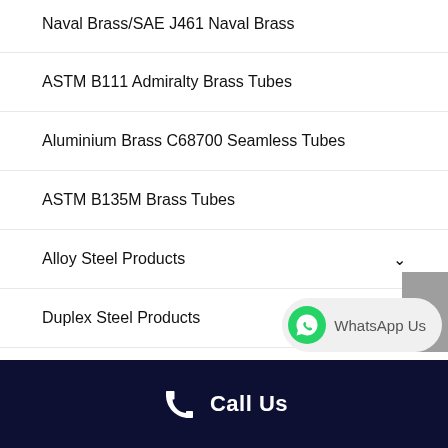Naval Brass/SAE J461 Naval Brass
ASTM B111 Admiralty Brass Tubes
Aluminium Brass C68700 Seamless Tubes
ASTM B135M Brass Tubes
Alloy Steel Products
Duplex Steel Products
Super Duplex Steel Products
Call Us